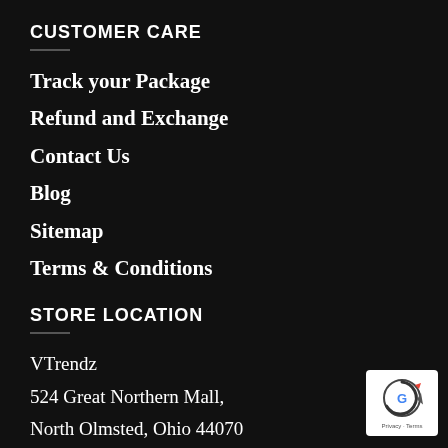CUSTOMER CARE
Track your Package
Refund and Exchange
Contact Us
Blog
Sitemap
Terms & Conditions
STORE LOCATION
VTrendz
524 Great Northern Mall,
North Olmsted, Ohio 44070
[Figure (logo): Google reCAPTCHA badge with circular arrow icon and Privacy Terms text]